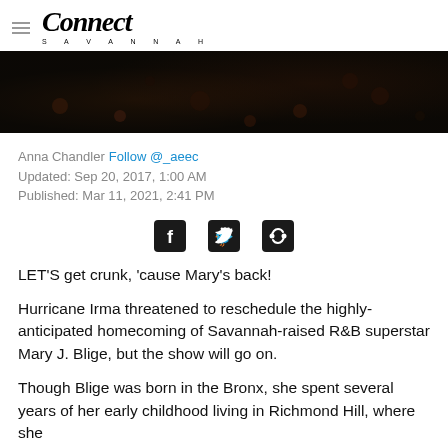Connect Savannah
[Figure (photo): Dark textured background photo, appears to show dark ground or foliage]
Anna Chandler Follow @_aeec
Updated: Sep 20, 2017, 1:00 AM
Published: Mar 11, 2021, 2:41 PM
[Figure (infographic): Social share icons: Facebook, Twitter, Link]
LET'S get crunk, 'cause Mary's back!
Hurricane Irma threatened to reschedule the highly-anticipated homecoming of Savannah-raised R&B superstar Mary J. Blige, but the show will go on.
Though Blige was born in the Bronx, she spent several years of her early childhood living in Richmond Hill, where she